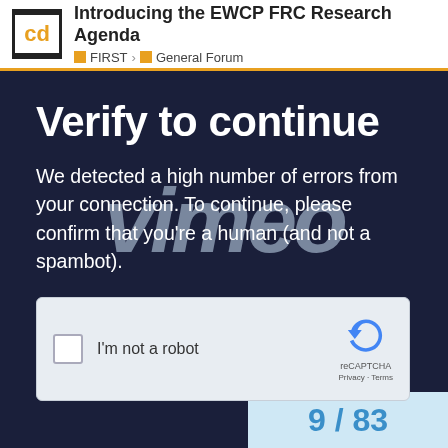Introducing the EWCP FRC Research Agenda — FIRST > General Forum
[Figure (screenshot): Vimeo 'Verify to continue' page with reCAPTCHA widget. Dark navy background with large white text 'Verify to continue', body text 'We detected a high number of errors from your connection. To continue, please confirm that you are a human (and not a spambot).' overlaid with a large italic semi-transparent Vimeo watermark logo. Below the text is a reCAPTCHA checkbox widget with 'I'm not a robot' label.]
9 / 83